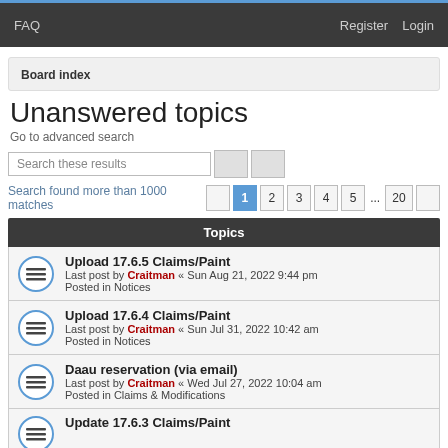FAQ   Register   Login
Board index
Unanswered topics
Go to advanced search
Search these results
Search found more than 1000 matches   1  2  3  4  5  ...  20
Topics
Upload 17.6.5 Claims/Paint
Last post by Craitman « Sun Aug 21, 2022 9:44 pm
Posted in Notices
Upload 17.6.4 Claims/Paint
Last post by Craitman « Sun Jul 31, 2022 10:42 am
Posted in Notices
Daau reservation (via email)
Last post by Craitman « Wed Jul 27, 2022 10:04 am
Posted in Claims & Modifications
Update 17.6.3 Claims/Paint